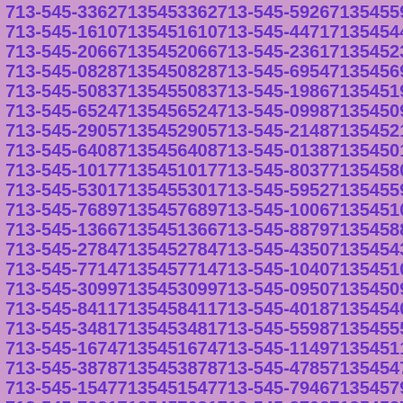713-545-3362 7135453362 713-545-5926 7135455926 713-545-1610 7135451610 713-545-4471 7135454471 713-545-2066 7135452066 713-545-2361 7135452361 713-545-0828 7135450828 713-545-6954 7135456954 713-545-5083 7135455083 713-545-1986 7135451986 713-545-6524 7135456524 713-545-0998 7135450998 713-545-2905 7135452905 713-545-2148 7135452148 713-545-6408 7135456408 713-545-0138 7135450138 713-545-1017 7135451017 713-545-8037 7135458037 713-545-5301 7135455301 713-545-5952 7135455952 713-545-7689 7135457689 713-545-1006 7135451006 713-545-1366 7135451366 713-545-8879 7135458879 713-545-2784 7135452784 713-545-4350 7135454350 713-545-7714 7135457714 713-545-1040 7135451040 713-545-3099 7135453099 713-545-0950 7135450950 713-545-8411 7135458411 713-545-4018 7135454018 713-545-3481 7135453481 713-545-5598 7135455598 713-545-1674 7135451674 713-545-1149 7135451149 713-545-3878 7135453878 713-545-4785 7135454785 713-545-1547 7135451547 713-545-7946 7135457946 713-545-7031 7135457031 713-545-2703 7135452703